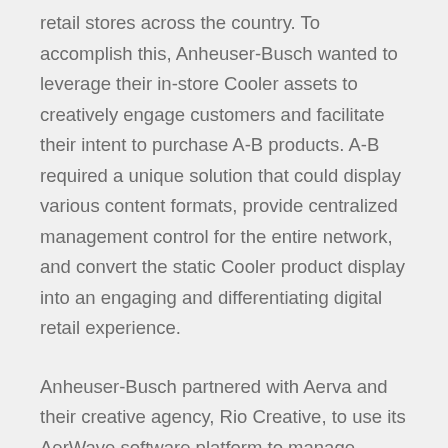retail stores across the country. To accomplish this, Anheuser-Busch wanted to leverage their in-store Cooler assets to creatively engage customers and facilitate their intent to purchase A-B products. A-B required a unique solution that could display various content formats, provide centralized management control for the entire network, and convert the static Cooler product display into an engaging and differentiating digital retail experience.
Anheuser-Busch partnered with Aerva and their creative agency, Rio Creative, to use its AerWave software platform to manage content across the entire network of 1,000 Digital Coolers in retail locations. To appeal to customers and improve brand-integration at the point of purchase, Anheuser-Busch's Digital Coolers displayed their image, promotions and